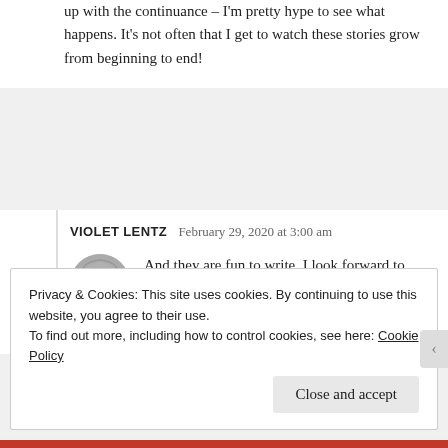up with the continuance – I'm pretty hype to see what happens. It's not often that I get to watch these stories grow from beginning to end!
VIOLET LENTZ   February 29, 2020 at 3:00 am
[Figure (photo): Circular avatar photo of Violet Lentz, a person with gray/silver hair]
And they are fun to write. I look forward to chosen again.. That is I hope I will….
Privacy & Cookies: This site uses cookies. By continuing to use this website, you agree to their use.
To find out more, including how to control cookies, see here: Cookie Policy
Close and accept